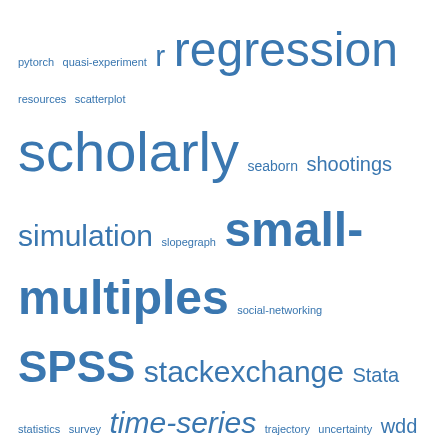[Figure (infographic): Tag cloud with various data/statistics related tags in different sizes and blue color. Tags include: pytorch, quasi-experiment, r, regression, resources, scatterplot, scholarly, seaborn, shootings, simulation, slopegraph, small-multiples, social-networking, SPSS, stackexchange, Stata, statistics, survey, time-series, trajectory, uncertainty, wdd, web-scraping, writing]
Top Posts & Pages
Testing the equality of two regression coefficients
Making nice margin plots in Stata
Git excluding specific files when merging branches
Stack Exchange
[Figure (other): Stack Exchange user card for Andy W with diamond icons]